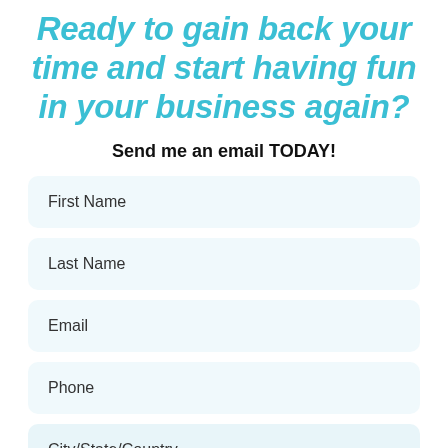Ready to gain back your time and start having fun in your business again?
Send me an email TODAY!
First Name
Last Name
Email
Phone
City/State/Country
Timezone